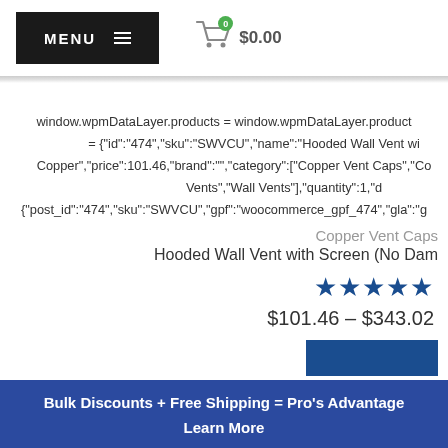MENU  $0.00
window.wpmDataLayer.products = window.wpmDataLayer.products = {"id":"474","sku":"SWVCU","name":"Hooded Wall Vent wi Copper","price":101.46,"brand":"","category":["Copper Vent Caps","Co Vents","Wall Vents"],"quantity":1,"d {"post_id":"474","sku":"SWVCU","gpf":"woocommerce_gpf_474","gla":"g
Copper Vent Caps
Hooded Wall Vent with Screen (No Dam
★★★★★
$101.46 – $343.02
Bulk Discounts + Free Shipping = Pro's Advantage
Learn More